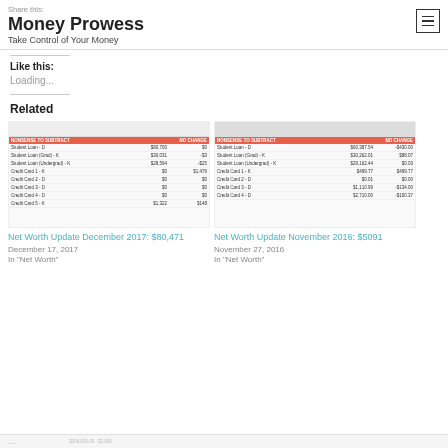Share this: Money Prowess – Take Control of Your Money
Like this:
Loading...
Related
[Figure (screenshot): Thumbnail of Net Worth Update December 2017 showing a table with NONSENSE TO SUBTRACT / NO CHANGE columns listing Student Loan D, Student Loan Grad K, Student Loan Undergrad K, Credit Cards]
Net Worth Update December 2017: $80,471
December 17, 2017
In "Net Worth"
[Figure (screenshot): Thumbnail of Net Worth Update November 2016 showing a table with NONSENSE TO SUBTRACT / NO CHANGE columns listing Student Loan D, Student Loan Grad K, Student Loan Undergrad K, Credit Cards]
Net Worth Update November 2016: $5091
November 27, 2016
In "Net Worth"